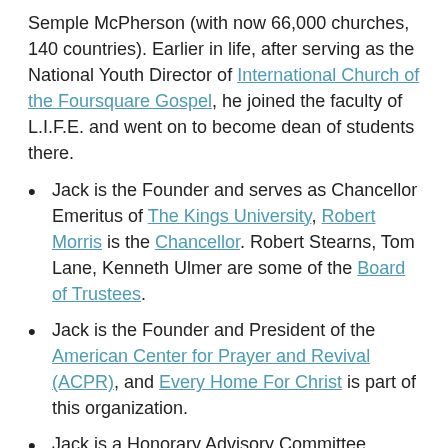Semple McPherson (with now 66,000 churches, 140 countries). Earlier in life, after serving as the National Youth Director of International Church of the Foursquare Gospel, he joined the faculty of L.I.F.E. and went on to become dean of students there.
Jack is the Founder and serves as Chancellor Emeritus of The Kings University. Robert Morris is the Chancellor. Robert Stearns, Tom Lane, Kenneth Ulmer are some of the Board of Trustees.
Jack is the Founder and President of the American Center for Prayer and Revival (ACPR), and Every Home For Christ is part of this organization.
Jack is a Honorary Advisory Committee Member of the Pentecostal World